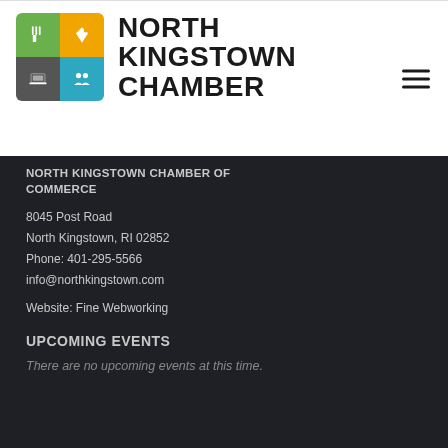[Figure (logo): North Kingstown Chamber logo with four-quadrant icon grid (green with fork/knife, orange with tag, gray with laptop, blue with people icons) and bold text 'NORTH KINGSTOWN CHAMBER']
NORTH KINGSTOWN CHAMBER OF COMMERCE
8045 Post Road
North Kingstown, RI 02852
Phone: 401-295-5566
info@northkingstown.com
Website: Fine Webworking
UPCOMING EVENTS
There are no upcoming events at this time.